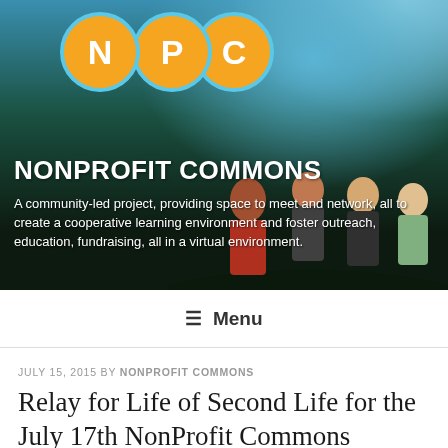[Figure (photo): Nonprofit Commons website header banner with NPC logo (three circles with N, P, C in orange on light blue borders), virtual world characters in background, dark teal/green outdoor scene]
NONPROFIT COMMONS
A community-led project, providing space to meet and network, all to create a cooperative learning environment and foster outreach, education, fundraising, all in a virtual environment.
≡ Menu
JULY 15, 2015 BY NONPROFIT COMMONS
Relay for Life of Second Life for the July 17th NonProfit Commons Meeting